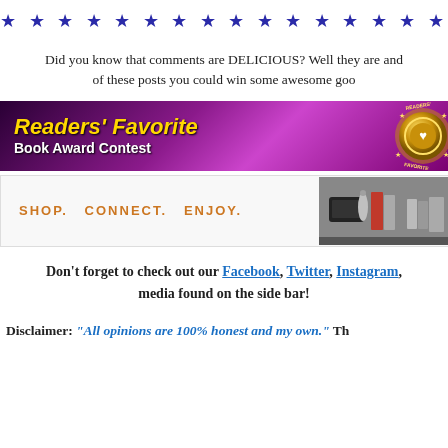[Figure (other): A row of blue star symbols used as a decorative divider]
Did you know that comments are DELICIOUS? Well they are and of these posts you could win some awesome goo
[Figure (other): Readers' Favorite Book Award Contest banner with purple gradient background, gold italic title text, and a gold medal on the right]
[Figure (other): Shop. Connect. Enjoy. banner with orange text on light background and product images on the right side]
Don't forget to check out our Facebook, Twitter, Instagram, media found on the side bar!
Disclaimer: "All opinions are 100% honest and my own." Th